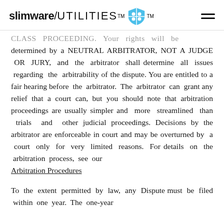slimware / UTILITIES™ [shield logo] ™ [hamburger menu]
CLASS PROCEEDING. Your rights will be determined by a NEUTRAL ARBITRATOR, NOT A JUDGE OR JURY, and the arbitrator shall determine all issues regarding the arbitrability of the dispute. You are entitled to a fair hearing before the arbitrator. The arbitrator can grant any relief that a court can, but you should note that arbitration proceedings are usually simpler and more streamlined than trials and other judicial proceedings. Decisions by the arbitrator are enforceable in court and may be overturned by a court only for very limited reasons. For details on the arbitration process, see our Arbitration Procedures
To the extent permitted by law, any Dispute must be filed within one year. The one-year